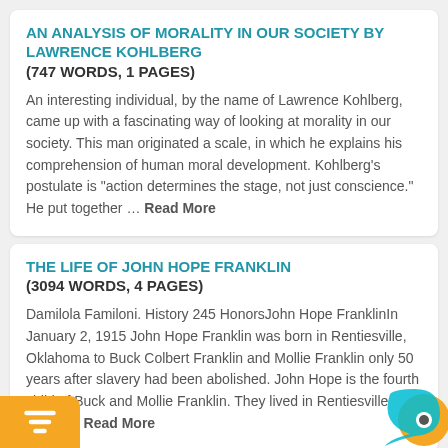AN ANALYSIS OF MORALITY IN OUR SOCIETY BY LAWRENCE KOHLBERG
(747 WORDS, 1 PAGES)
An interesting individual, by the name of Lawrence Kohlberg, came up with a fascinating way of looking at morality in our society. This man originated a scale, in which he explains his comprehension of human moral development. Kohlberg's postulate is "action determines the stage, not just conscience." He put together … Read More
THE LIFE OF JOHN HOPE FRANKLIN
(3094 WORDS, 4 PAGES)
Damilola Familoni. History 245 HonorsJohn Hope FranklinIn January 2, 1915 John Hope Franklin was born in Rentiesville, Oklahoma to Buck Colbert Franklin and Mollie Franklin only 50 years after slavery had been abolished. John Hope is the fourth child of Buck and Mollie Franklin. They lived in Rentiesville which … Read More